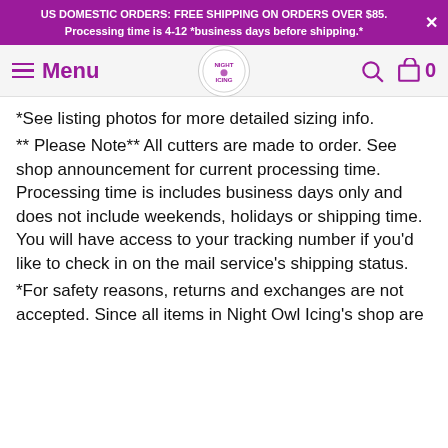US DOMESTIC ORDERS: FREE SHIPPING ON ORDERS OVER $85. Processing time is 4-12 *business days before shipping.*
Menu
*See listing photos for more detailed sizing info.
** Please Note** All cutters are made to order. See shop announcement for current processing time. Processing time is includes business days only and does not include weekends, holidays or shipping time. You will have access to your tracking number if you'd like to check in on the mail service's shipping status.
*For safety reasons, returns and exchanges are not accepted. Since all items in Night Owl Icing's shop are